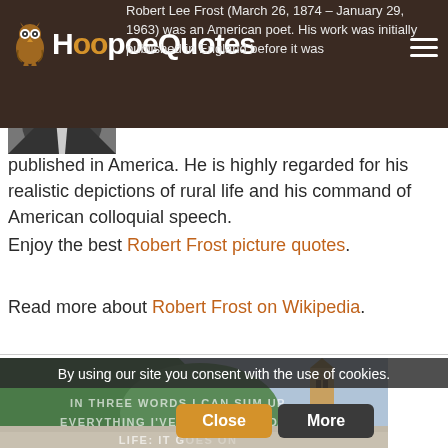HoopoeQuotes
[Figure (photo): Black and white portrait photo of Robert Frost]
Robert Lee Frost (March 26, 1874 – January 29, 1963) was an American poet. His work was initially published in England before it was published in America. He is highly regarded for his realistic depictions of rural life and his command of American colloquial speech.
Enjoy the best Robert Frost picture quotes.
Read more about Robert Frost on Wikipedia.
[Figure (photo): Landscape photo showing a hillside with trees and a church tower, used as quote image background]
By using our site you consent with the use of cookies.
IN THREE WORDS I CAN SUM UP EVERYTHING I'VE LEARNED ABOUT LIFE: IT G...